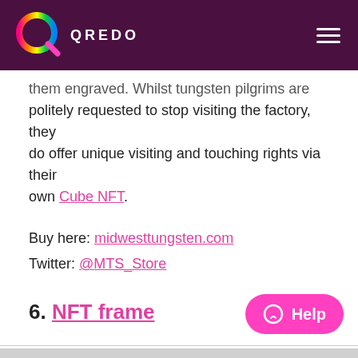QREDO
them engraved. Whilst tungsten pilgrims are politely requested to stop visiting the factory, they do offer unique visiting and touching rights via their own Cube NFT.
Buy here: midwesttungsten.com
Twitter: @MTS_Store
6. NFT frame